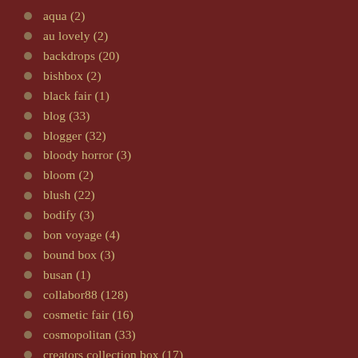aqua (2)
au lovely (2)
backdrops (20)
bishbox (2)
black fair (1)
blog (33)
blogger (32)
bloody horror (3)
bloom (2)
blush (22)
bodify (3)
bon voyage (4)
bound box (3)
busan (1)
collabor88 (128)
cosmetic fair (16)
cosmopolitan (33)
creators collection box (17)